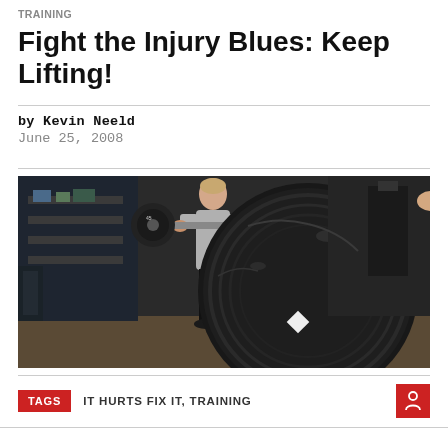TRAINING
Fight the Injury Blues: Keep Lifting!
by Kevin Neeld
June 25, 2008
[Figure (photo): A man in a gym holding a barbell with heavy weight plates, including a very large black weight plate in the foreground on a rack or floor.]
TAGS  IT HURTS FIX IT, TRAINING